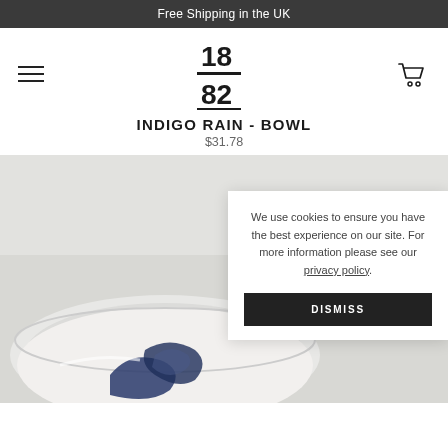Free Shipping in the UK
[Figure (logo): 1882 brand logo with horizontal line dividing 18 and 82]
Indigo Rain - Bowl
$31.78
[Figure (photo): A white ceramic bowl with an indigo blue painted abstract design inside, partially visible, on a white surface.]
We use cookies to ensure you have the best experience on our site. For more information please see our privacy policy.
DISMISS